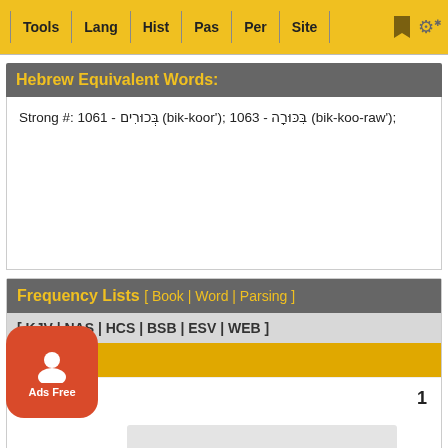Tools | Lang | Hist | Pas | Per | Site
Hebrew Equivalent Words:
Strong #: 1061 - בְּכוּרִים (bik-koor');  1063 - בִּכּוּרָה (bik-koo-raw');
Frequency Lists  [ Book | Word | Parsing ]
[ KJV | NAS | HCS | BSB | ESV | WEB ]
KJV (1)
ebrews    1